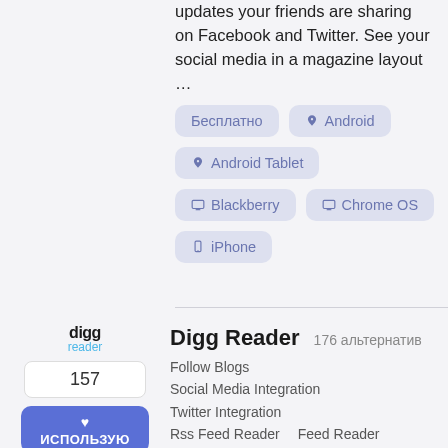updates your friends are sharing on Facebook and Twitter. See your social media in a magazine layout ...
Бесплатно
Android
Android Tablet
Blackberry
Chrome OS
iPhone
[Figure (logo): Digg Reader logo — text 'digg' in bold black and 'reader' in light blue below]
157
ИСПОЛЬЗУЮ
Digg Reader
176 альтернатив
Follow Blogs
Social Media Integration
Twitter Integration
Rss Feed Reader
Feed Reader
An alternative to the popular Google